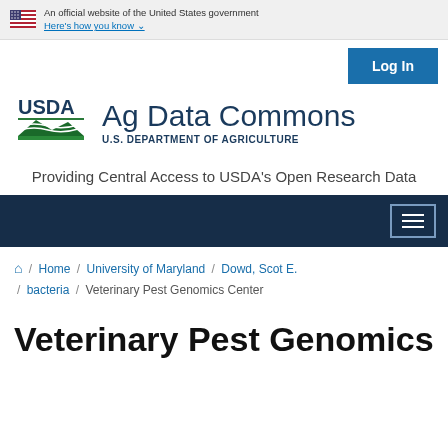An official website of the United States government
Here's how you know
Log In
[Figure (logo): USDA logo with green mountain and field graphic, Ag Data Commons, U.S. Department of Agriculture]
Providing Central Access to USDA's Open Research Data
[Figure (other): Dark navy navigation bar with hamburger menu icon]
Home / University of Maryland / Dowd, Scot E. / bacteria / Veterinary Pest Genomics Center
Veterinary Pest Genomics